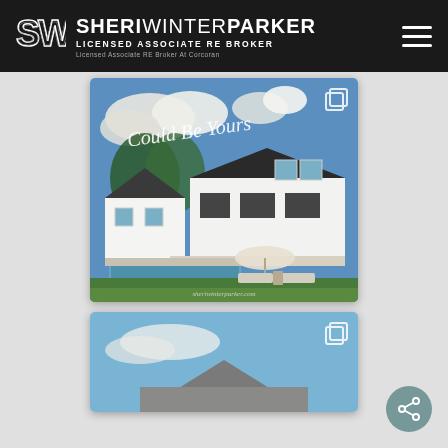SHERI WINTER PARKER — LICENSED ASSOCIATE RE BROKER — Licensed Associate RE Broker At Corcoran
[Figure (photo): Luxury white farmhouse-style home with a backyard swimming pool, patio lounge chairs, umbrella, and green lawn under a partly cloudy sky. Overlay script text reads 'Could Be You' and watermark 'sheriwinterparker.com'.]
[Figure (photo): Partial view of another property — roofline of a house against a blue sky.]